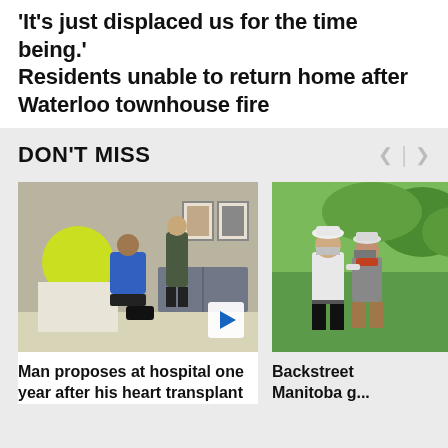'It's just displaced us for the time being.' Residents unable to return home after Waterloo townhouse fire
DON'T MISS
[Figure (photo): Man on one knee proposing to a woman in a hospital or medical building lobby, with framed portraits on the wall behind them and a yellow circular logo visible. A video play button is visible in the corner.]
[Figure (photo): Two men posing together outdoors on what appears to be a golf course, both wearing hats and golf attire.]
Man proposes at hospital one year after his heart transplant
Backstreet... Manitoba g...